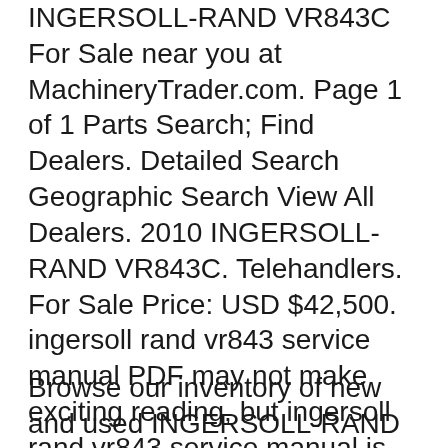INGERSOLL-RAND VR843C For Sale near you at MachineryTrader.com. Page 1 of 1 Parts Search; Find Dealers. Detailed Search Geographic Search View All Dealers. 2010 INGERSOLL-RAND VR843C. Telehandlers. For Sale Price: USD $42,500. ingersoll rand vr843 service manual PDF may not make exciting reading, but ingersoll rand vr843 service manual is packed with valuable instructions, information and warnings. We also have many ebooks and user guide is also related with ingersoll rand vr843 service manual PDF, include :
Browse our inventory of new and used INGERSOLL-RAND VR843C For Sale near you at MachineryTrader.com. Page 1 of